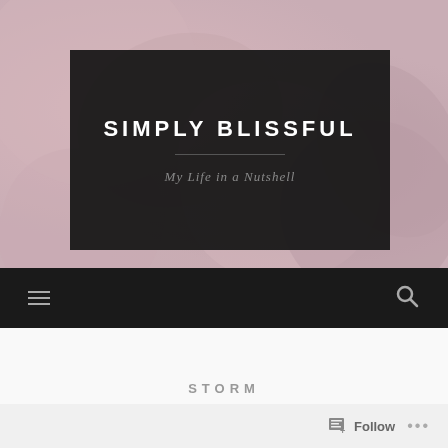[Figure (screenshot): Blog header screenshot with rose/flower background image, dark overlay box containing blog title and subtitle, dark navigation bar with hamburger menu and search icon, white content area with post title, and follow bar at bottom.]
SIMPLY BLISSFUL
My Life in a Nutshell
STORM
Follow
...